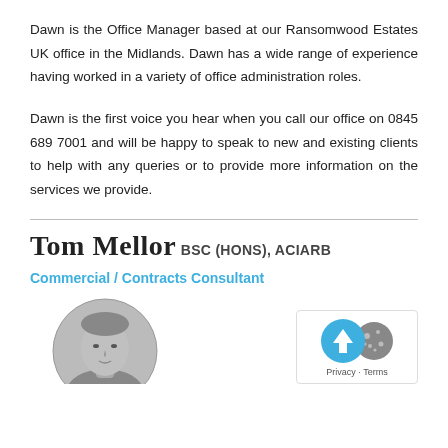Dawn is the Office Manager based at our Ransomwood Estates UK office in the Midlands. Dawn has a wide range of experience having worked in a variety of office administration roles.
Dawn is the first voice you hear when you call our office on 0845 689 7001 and will be happy to speak to new and existing clients to help with any queries or to provide more information on the services we provide.
Tom Mellor BSc (Hons), ACIArb
Commercial / Contracts Consultant
[Figure (photo): Black and white circular portrait photo of Tom Mellor, showing a man's head and shoulders]